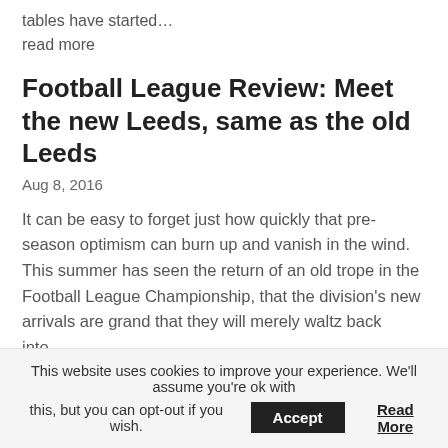tables have started…
read more
Football League Review: Meet the new Leeds, same as the old Leeds
Aug 8, 2016
It can be easy to forget just how quickly that pre-season optimism can burn up and vanish in the wind. This summer has seen the return of an old trope in the Football League Championship, that the division's new arrivals are grand that they will merely waltz back into…
read more
This website uses cookies to improve your experience. We'll assume you're ok with this, but you can opt-out if you wish. Accept Read More